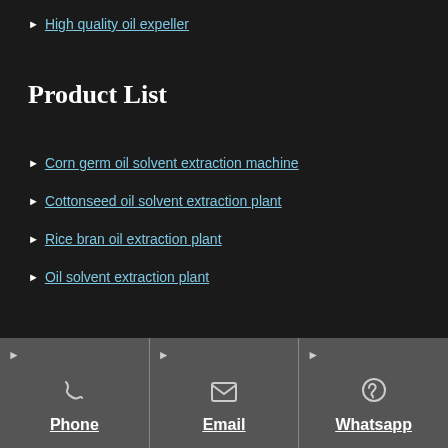High quality oil expeller
Product List
Corn germ oil solvent extraction machine
Cottonseed oil solvent extraction plant
Rice bran oil extraction plant
Oil solvent extraction plant
Phone  Email  Whatsapp